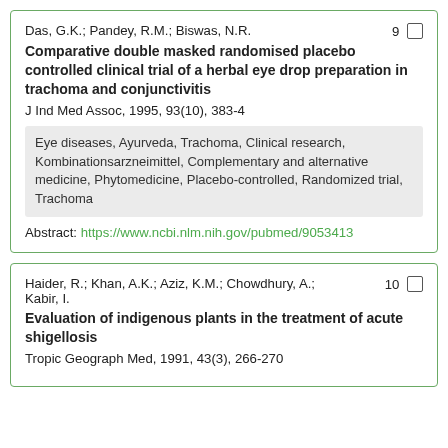Das, G.K.; Pandey, R.M.; Biswas, N.R.   9
Comparative double masked randomised placebo controlled clinical trial of a herbal eye drop preparation in trachoma and conjunctivitis
J Ind Med Assoc, 1995, 93(10), 383-4
Eye diseases, Ayurveda, Trachoma, Clinical research, Kombinationsarzneimittel, Complementary and alternative medicine, Phytomedicine, Placebo-controlled, Randomized trial, Trachoma
Abstract: https://www.ncbi.nlm.nih.gov/pubmed/9053413
Haider, R.; Khan, A.K.; Aziz, K.M.; Chowdhury, A.; Kabir, I.   10
Evaluation of indigenous plants in the treatment of acute shigellosis
Tropic Geograph Med, 1991, 43(3), 266-270